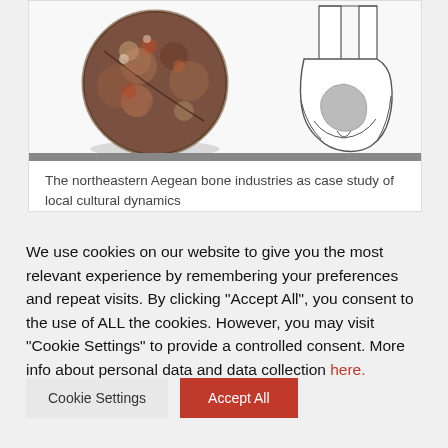[Figure (photo): Left: a round, brown and rust-colored fossil bone/artifact (spherical shape with surface weathering and a crack line). Right: a schematic anatomical line drawing of a bone end (distal end of a long bone) with a gray shaded region indicating a specific anatomical area.]
The northeastern Aegean bone industries as case study of local cultural dynamics
We use cookies on our website to give you the most relevant experience by remembering your preferences and repeat visits. By clicking “Accept All”, you consent to the use of ALL the cookies. However, you may visit "Cookie Settings" to provide a controlled consent. More info about personal data and data collection here.